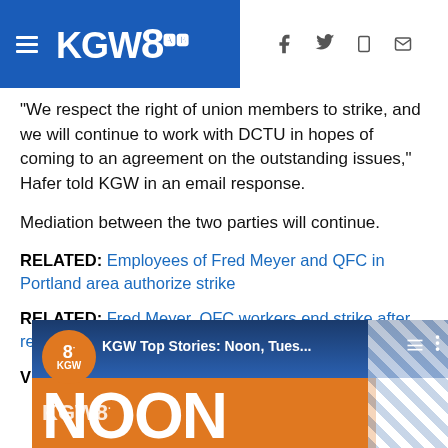KGW8
"We respect the right of union members to strike, and we will continue to work with DCTU in hopes of coming to an agreement on the outstanding issues," Hafer told KGW in an email response.
Mediation between the two parties will continue.
RELATED: Employees of Fred Meyer and QFC in Portland area authorize strike
RELATED: Fred Meyer, QFC workers end strike after reaching tentative deal
VIDEO PLAYLIST: KGW Headlines on Demand
[Figure (screenshot): KGW video player thumbnail showing 'KGW Top Stories: Noon, Tues...' with NOON text and KGW8 branding on orange background]